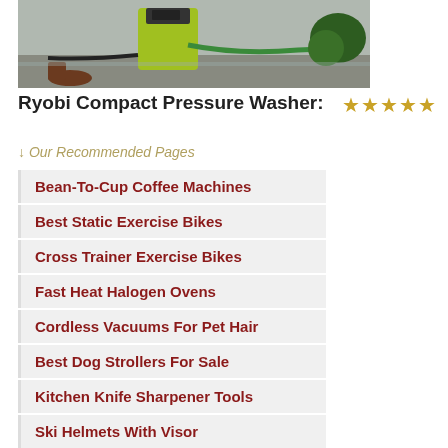[Figure (photo): Photo of a yellow and black Ryobi compact pressure washer on wet ground with a green hose attached and a person's feet visible nearby]
Ryobi Compact Pressure Washer: ★★★★★
↓ Our Recommended Pages
Bean-To-Cup Coffee Machines
Best Static Exercise Bikes
Cross Trainer Exercise Bikes
Fast Heat Halogen Ovens
Cordless Vacuums For Pet Hair
Best Dog Strollers For Sale
Kitchen Knife Sharpener Tools
Ski Helmets With Visor